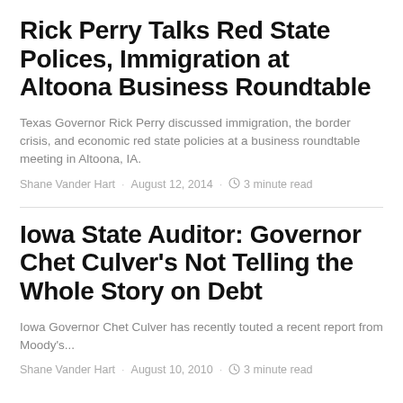Rick Perry Talks Red State Polices, Immigration at Altoona Business Roundtable
Texas Governor Rick Perry discussed immigration, the border crisis, and economic red state policies at a business roundtable meeting in Altoona, IA.
Shane Vander Hart · August 12, 2014 · 3 minute read
Iowa State Auditor: Governor Chet Culver's Not Telling the Whole Story on Debt
Iowa Governor Chet Culver has recently touted a recent report from Moody's...
Shane Vander Hart · August 10, 2010 · 3 minute read